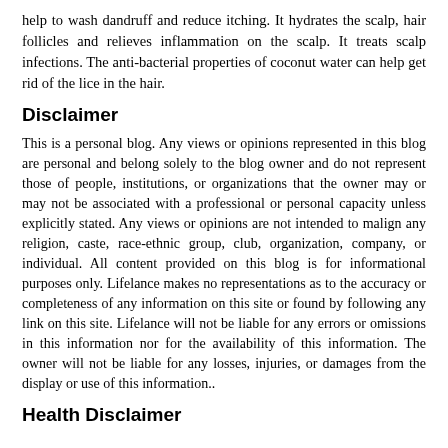help to wash dandruff and reduce itching. It hydrates the scalp, hair follicles and relieves inflammation on the scalp. It treats scalp infections. The anti-bacterial properties of coconut water can help get rid of the lice in the hair.
Disclaimer
This is a personal blog. Any views or opinions represented in this blog are personal and belong solely to the blog owner and do not represent those of people, institutions, or organizations that the owner may or may not be associated with a professional or personal capacity unless explicitly stated. Any views or opinions are not intended to malign any religion, caste, race-ethnic group, club, organization, company, or individual. All content provided on this blog is for informational purposes only. Lifelance makes no representations as to the accuracy or completeness of any information on this site or found by following any link on this site. Lifelance will not be liable for any errors or omissions in this information nor for the availability of this information. The owner will not be liable for any losses, injuries, or damages from the display or use of this information..
Health Disclaimer